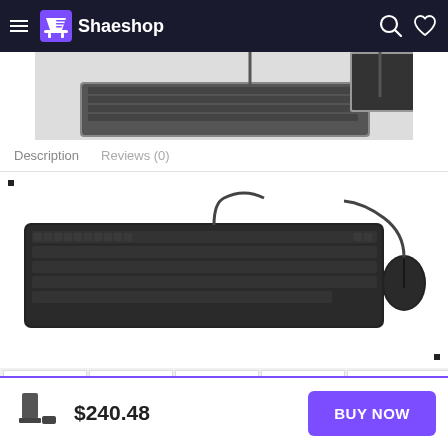Shaeshop
[Figure (screenshot): Shaeshop e-commerce website header with hamburger menu, purple shopping bag logo, site name 'Shaeshop', search and heart icons on dark background]
[Figure (photo): Partial product image showing keyboard and desktop computer at top]
Description   Reviews (0)
[Figure (photo): Black wired keyboard with black wired mouse product photo on white background]
[Figure (photo): Row of 5 product thumbnail images showing Dell desktop computer from various angles (front, side, right side, tower view, and spec sheet)]
[Figure (photo): Additional product thumbnails showing Dell desktop computer spec sheet, accessories, packaging, and component views]
$240.48
BUY NOW